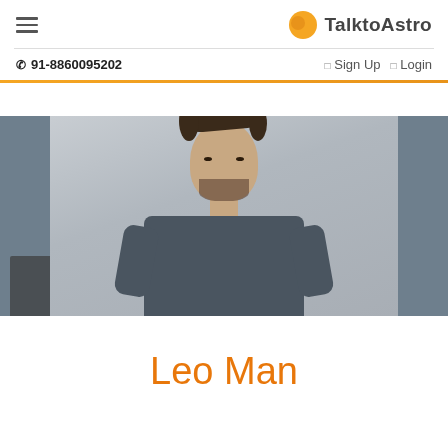TalktoAstro — Navigation header with hamburger menu, logo, phone 91-8860095202, Sign Up, Login
[Figure (photo): A young man with dark tousled hair and beard wearing a dark grey t-shirt, sitting against a light background, flanked by dark grey side panels]
Leo Man